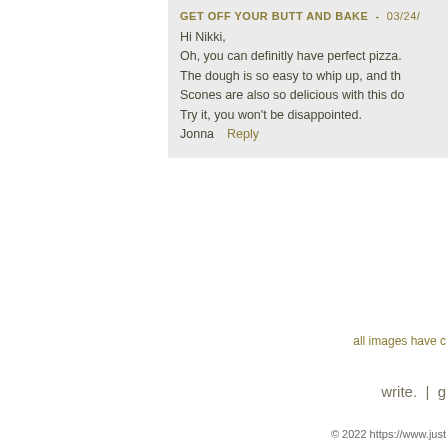GET OFF YOUR BUTT AND BAKE  -  03/24/
Hi Nikki,
Oh, you can definitly have perfect pizza.
The dough is so easy to whip up, and th
Scones are also so delicious with this do
Try it, you won't be disappointed.
Jonna   Reply
all images have c
write.  |  g
© 2022 https://www.just